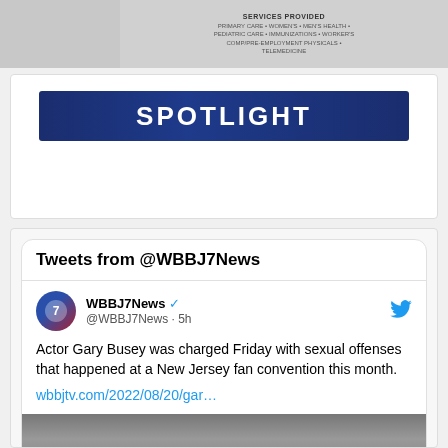[Figure (photo): Medical advertisement with services listed: PRIMARY CARE, WOMEN'S, MEN'S HEALTH, PEDIATRIC CARE, IMMUNIZATIONS, WORKER'S COMP/PRE-EMPLOYMENT PHYSICALS, TELEMEDICINE]
SPOTLIGHT
Tweets from @WBBJ7News
WBBJ7News @WBBJ7News · 5h
Actor Gary Busey was charged Friday with sexual offenses that happened at a New Jersey fan convention this month.
wbbjtv.com/2022/08/20/gar…
[Figure (photo): Partial image of a person at the bottom of the tweet]